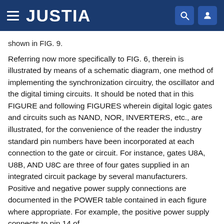JUSTIA
shown in FIG. 9.
Referring now more specifically to FIG. 6, therein is illustrated by means of a schematic diagram, one method of implementing the synchronization circuitry, the oscillator and the digital timing circuits. It should be noted that in this FIGURE and following FIGURES wherein digital logic gates and circuits such as NAND, NOR, INVERTERS, etc., are illustrated, for the convenience of the reader the industry standard pin numbers have been incorporated at each connection to the gate or circuit. For instance, gates U8A, U8B, AND U8C are three of four gates supplied in an integrated circuit package by several manufacturers. Positive and negative power supply connections are documented in the POWER table contained in each figure where appropriate. For example, the positive power supply connects to pin 14 of